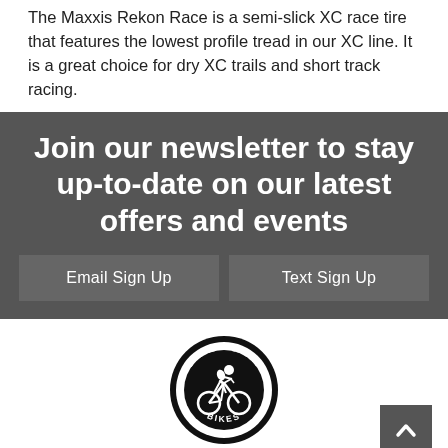The Maxxis Rekon Race is a semi-slick XC race tire that features the lowest profile tread in our XC line. It is a great choice for dry XC trails and short track racing.
Join our newsletter to stay up-to-date on our latest offers and events
Email Sign Up
Text Sign Up
[Figure (logo): Spoke-n-Sport Bikes circular logo with a cyclist illustration in black and white]
Quick Links